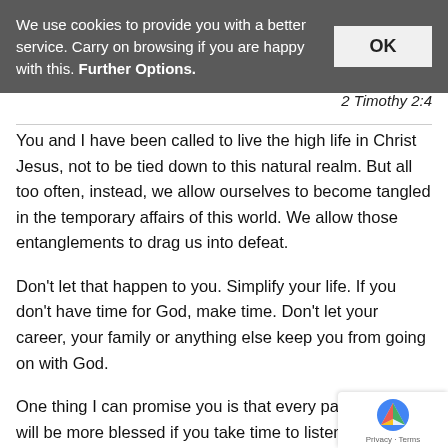We use cookies to provide you with a better service. Carry on browsing if you are happy with this. Further Options.
OK
2 Timothy 2:4
You and I have been called to live the high life in Christ Jesus, not to be tied down to this natural realm. But all too often, instead, we allow ourselves to become tangled in the temporary affairs of this world. We allow those entanglements to drag us into defeat.
Don't let that happen to you. Simplify your life. If you don't have time for God, make time. Don't let your career, your family or anything else keep you from going on with God.
One thing I can promise you is that every part of your life will be more blessed if you take time to listen to God. Noth can do is better than hearing from heaven.